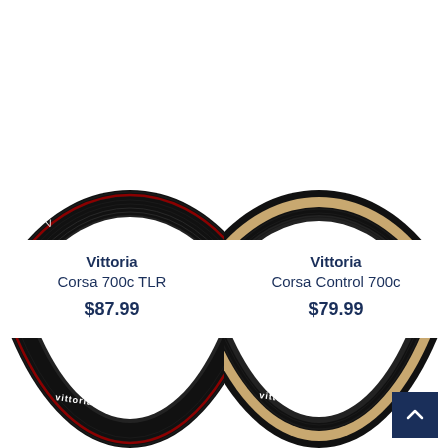[Figure (photo): Vittoria Corsa 700c TLR bicycle tire, black with red stripe, shown in close-up arc view]
Vittoria
Corsa 700c TLR
$87.99
[Figure (photo): Vittoria Corsa Control 700c bicycle tire, black with tan/beige sidewall, shown in close-up arc view]
Vittoria
Corsa Control 700c
$79.99
[Figure (photo): Partial bottom view of a Vittoria bicycle tire (left), cropped]
[Figure (photo): Partial bottom view of a Vittoria bicycle tire (right), cropped]